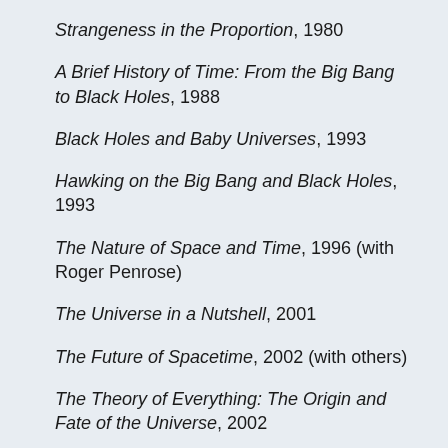Strangeness in the Proportion, 1980
A Brief History of Time: From the Big Bang to Black Holes, 1988
Black Holes and Baby Universes, 1993
Hawking on the Big Bang and Black Holes, 1993
The Nature of Space and Time, 1996 (with Roger Penrose)
The Universe in a Nutshell, 2001
The Future of Spacetime, 2002 (with others)
The Theory of Everything: The Origin and Fate of the Universe, 2002
Edited Texts:
General Relativity, 1980 (Werner Israel)